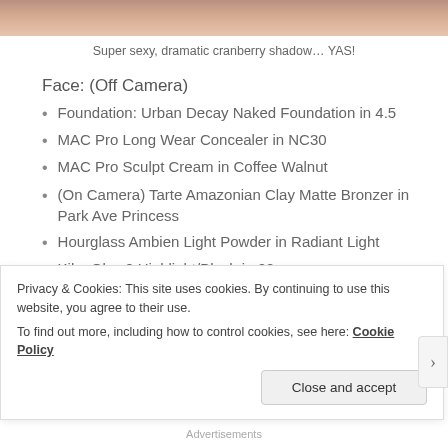[Figure (photo): Cropped photo of a person, showing chin/neck area with warm skin tones]
Super sexy, dramatic cranberry shadow… YAS!
Face: (Off Camera)
Foundation: Urban Decay Naked Foundation in 4.5
MAC Pro Long Wear Concealer in NC30
MAC Pro Sculpt Cream in Coffee Walnut
(On Camera) Tarte Amazonian Clay Matte Bronzer in Park Ave Princess
Hourglass Ambien Light Powder in Radiant Light
Kiko Glow2 Highlight/Blush in 02
Becca Shimmering Skin Perfector in Moonstone
Privacy & Cookies: This site uses cookies. By continuing to use this website, you agree to their use.
To find out more, including how to control cookies, see here: Cookie Policy
Advertisements